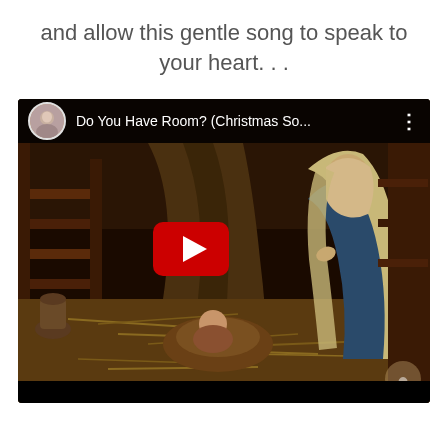and allow this gentle song to speak to your heart. . .
[Figure (screenshot): YouTube video embed showing a nativity scene with Mary and baby Jesus in a manger, hay on the ground, wooden fence in background. Video title reads 'Do You Have Room? (Christmas So...' with a channel avatar of a woman, more options icon, and a red YouTube play button in the center.]